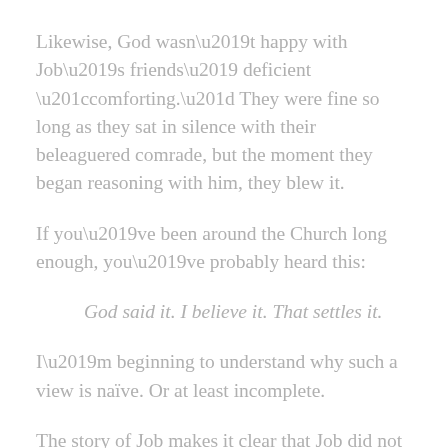Likewise, God wasn't happy with Job's friends' deficient “comforting.” They were fine so long as they sat in silence with their beleaguered comrade, but the moment they began reasoning with him, they blew it.
If you've been around the Church long enough, you've probably heard this:
God said it. I believe it. That settles it.
I’m beginning to understand why such a view is naïve. Or at least incomplete.
The story of Job makes it clear that Job did not sin during his ordeal, despite his questioning God. In the end, God blessed Job with even more than Job started out with.